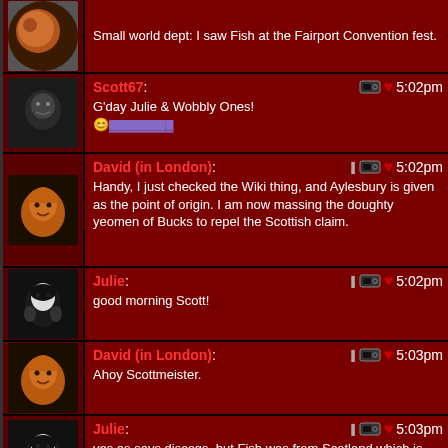Small world dept: I saw Fish at the Fairport Convention fest.
Scott67: G'day Julie & Wobbly Ones! [emoji] 5:02pm
David (in London): Handy, I just checked the Wiki thing, and Aylesbury is given as the point of origin. I am now massing the doughty yeomen of Bucks to repel the Scottish claim. 5:02pm
Julie: good morning Scott! 5:02pm
David (in London): Ahoy Scottmeister. 5:03pm
Julie: yes as says discogs, but Fish was from Scotland which is probably how that started 5:03pm
Stanley: What Scottish nonsense? 5:03pm
Handy Haversack: 5:03pm